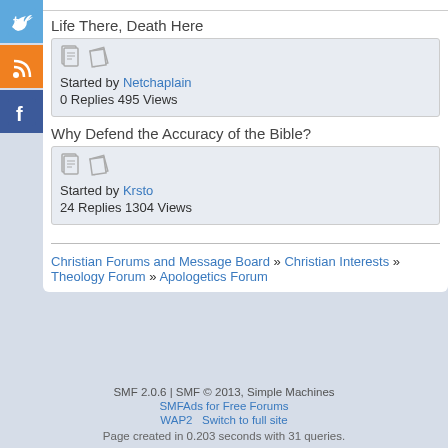Life There, Death Here
Started by Netchaplain
0 Replies 495 Views
Why Defend the Accuracy of the Bible?
Started by Krsto
24 Replies 1304 Views
Christian Forums and Message Board » Christian Interests » Theology Forum » Apologetics Forum
SMF 2.0.6 | SMF © 2013, Simple Machines
SMFAds for Free Forums
WAP2   Switch to full site
Page created in 0.203 seconds with 31 queries.